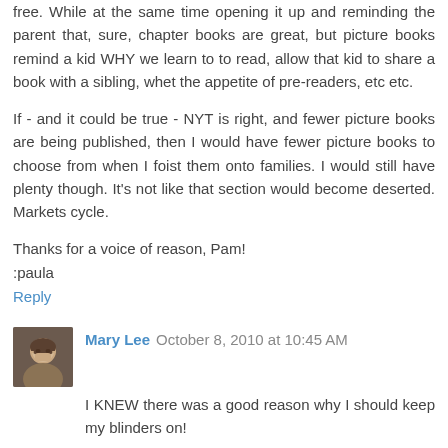free. While at the same time opening it up and reminding the parent that, sure, chapter books are great, but picture books remind a kid WHY we learn to to read, allow that kid to share a book with a sibling, whet the appetite of pre-readers, etc etc.
If - and it could be true - NYT is right, and fewer picture books are being published, then I would have fewer picture books to choose from when I foist them onto families. I would still have plenty though. It's not like that section would become deserted. Markets cycle.
Thanks for a voice of reason, Pam!
:paula
Reply
Mary Lee  October 8, 2010 at 10:45 AM
I KNEW there was a good reason why I should keep my blinders on!
Picture books are not in trouble in my elementary school, in